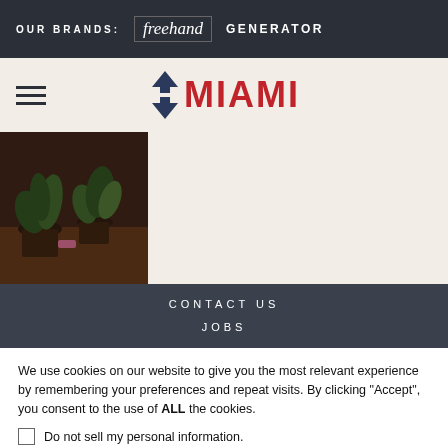OUR BRANDS: freehand GENERATOR
MIAMI
[Figure (photo): Indoor photo of potted plants on a dark wooden surface, warm dim lighting]
CONTACT US
JOBS
We use cookies on our website to give you the most relevant experience by remembering your preferences and repeat visits. By clicking “Accept”, you consent to the use of ALL the cookies.
Do not sell my personal information.
Cookie Settings
Accept